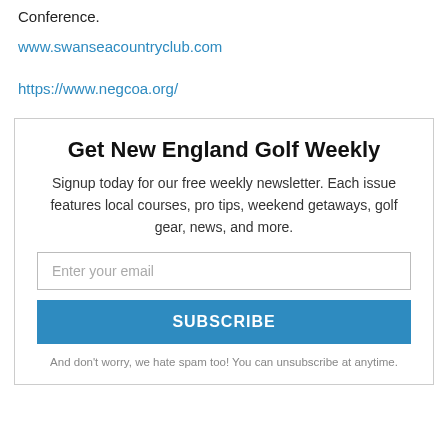Conference.
www.swanseacountryclub.com
https://www.negcoa.org/
Get New England Golf Weekly
Signup today for our free weekly newsletter. Each issue features local courses, pro tips, weekend getaways, golf gear, news, and more.
Enter your email
SUBSCRIBE
And don't worry, we hate spam too! You can unsubscribe at anytime.